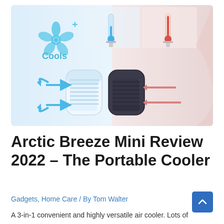[Figure (photo): Product marketing image for Arctic Breeze Mini portable air cooler. Left side shows blue cooling airflow with a fan/pinwheel icon and the word 'Cools+', plus a white compact air cooler unit with blue directional arrows indicating cool air output. Right side shows the same device in dark/black color with pink/warm arrows indicating warm air intake. Top center shows two thermometer comparison images (cool vs warm). Background is a split blue-white and pink gradient.]
Arctic Breeze Mini Review 2022 – The Portable Cooler
Gadgets, Home Care / By Tom Walter
A 3-in-1 convenient and highly versatile air cooler. Lots of